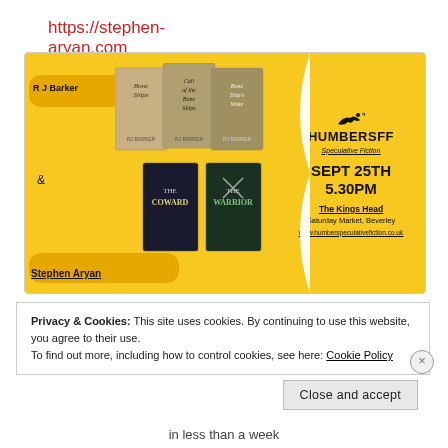https://stephen-aryan.com
[Figure (infographic): Event banner for HumberSFF Speculative Fiction featuring R J Barker and Stephen Aryan, with book covers, date SEPT 25TH 5.30PM, venue The Kings Head, Saturday Market, Beverley]
Privacy & Cookies: This site uses cookies. By continuing to use this website, you agree to their use.
To find out more, including how to control cookies, see here: Cookie Policy
in less than a week